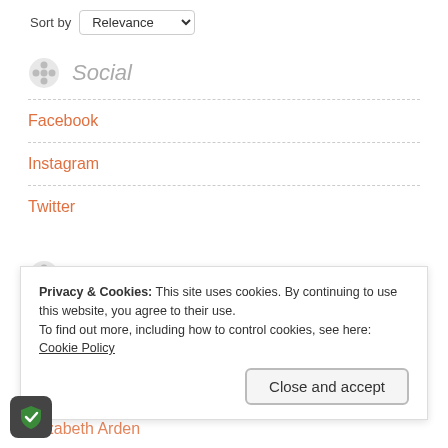Sort by Relevance
Social
Facebook
Instagram
Twitter
Categories
Beauty Event
Privacy & Cookies: This site uses cookies. By continuing to use this website, you agree to their use. To find out more, including how to control cookies, see here: Cookie Policy
Close and accept
Elizabeth Arden